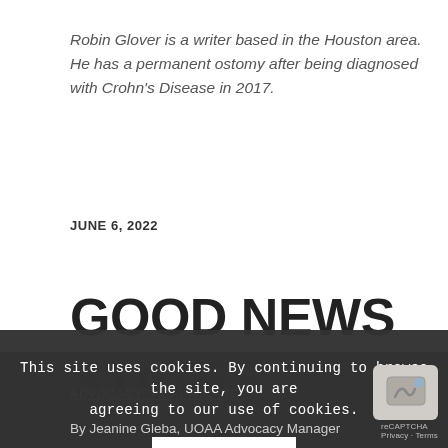Robin Glover is a writer based in the Houston area. He has a permanent ostomy after being diagnosed with Crohn's Disease in 2017.
JUNE 6, 2022
GOOD NEWS FOR OSTOMATES WITH MEDICAID IN SOME STATES
ADVOCACY  HEALTHCARE
This site uses cookies. By continuing to browse the site, you are agreeing to our use of cookies.
OK
By Jeanine Gleba, UOAA Advocacy Manager